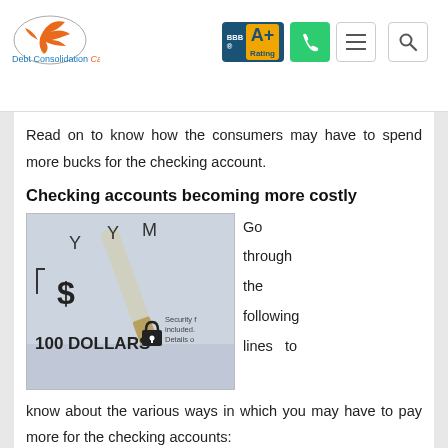Debt Consolidation Care — BBB A+ Rating
Read on to know how the consumers may have to spend more bucks for the checking account.
Checking accounts becoming more costly
[Figure (photo): Close-up photo of a 100 dollar check with a pen writing on it, showing dollar sign, '100 DOLLARS' text with a lock icon and 'Security included. Details' watermark text]
Go through the following lines to know about the various ways in which you may have to pay more for the checking accounts:
1. Maintenance fees are rising: An increasing